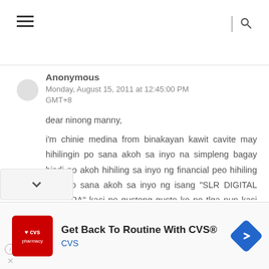Anonymous
Monday, August 15, 2011 at 12:45:00 PM GMT+8

dear ninong manny,

i'm chinie medina from binakayan kawit cavite may hihilingin po sana akoh sa inyo na simpleng bagay hindi po akoh hihiling sa inyo ng financial peo hihiling lang po sana akoh sa inyo ng isang "SLR DIGITAL CAMERA" kasi po gustong gusto ko po tlga nun kasi po hilig ko po kumuha ng mag
[Figure (other): CVS Pharmacy advertisement banner: red CVS pharmacy logo on left, text 'Get Back To Routine With CVS® CVS' in center, blue navigation arrow icon on right]